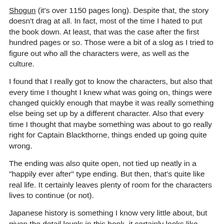Shogun (it's over 1150 pages long). Despite that, the story doesn't drag at all. In fact, most of the time I hated to put the book down. At least, that was the case after the first hundred pages or so. Those were a bit of a slog as I tried to figure out who all the characters were, as well as the culture.
I found that I really got to know the characters, but also that every time I thought I knew what was going on, things were changed quickly enough that maybe it was really something else being set up by a different character. Also that every time I thought that maybe something was about to go really right for Captain Blackthorne, things ended up going quite wrong.
The ending was also quite open, not tied up neatly in a "happily ever after" type ending. But then, that's quite like real life. It certainly leaves plenty of room for the characters lives to continue (or not).
Japanese history is something I know very little about, but given the detail levels in this book, it certainly looks like James Clavell has done his reasearch in writing the story. It